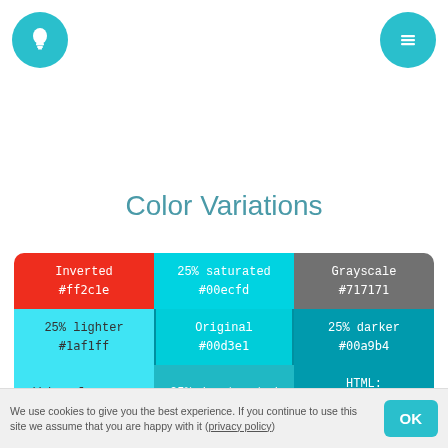[Figure (logo): Teal circle with white lightbulb icon, top-left header button]
[Figure (logo): Teal circle with white hamburger menu icon, top-right header button]
Color Variations
| Inverted #ff2c1e | 25% saturated #00ecfd | Grayscale #717171 |
| --- | --- | --- |
| 25% lighter #1af1ff | Original #00d3e1 | 25% darker #00a9b4 |
| Web safe: aqua #00ffff / #0ff | 25% desaturated #17bfcb | HTML: darkturquoise #00ced1 |
We use cookies to give you the best experience. If you continue to use this site we assume that you are happy with it (privacy policy)